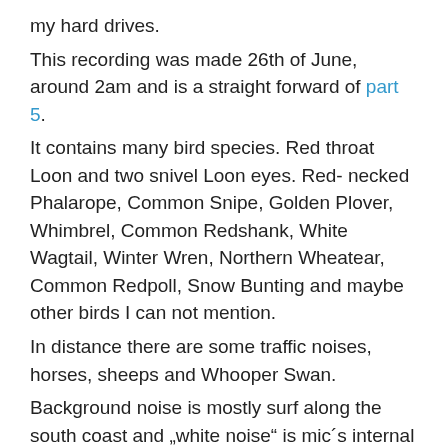my hard drives.
This recording was made 26th of June, around 2am and is a straight forward of part 5.
It contains many bird species. Red throat Loon and two snivel Loon eyes. Red- necked Phalarope, Common Snipe, Golden Plover, Whimbrel, Common Redshank, White Wagtail, Winter Wren, Northern Wheatear, Common Redpoll, Snow Bunting and maybe other birds I can not mention.
In distance there are some traffic noises, horses, sheeps and Whooper Swan.
Background noise is mostly surf along the south coast and „white noise“ is mic´s internal noise .
As usual for nature recordings as this one, don’t play it loud. Play it as you will hear nature sound trough open window.